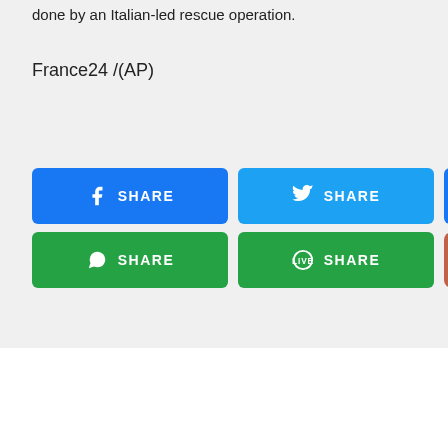done by an Italian-led rescue operation.
France24 /(AP)
[Figure (infographic): Social share buttons: Facebook Share, Twitter Share, Email Share, WhatsApp Share, Line Share, and a red plus button]